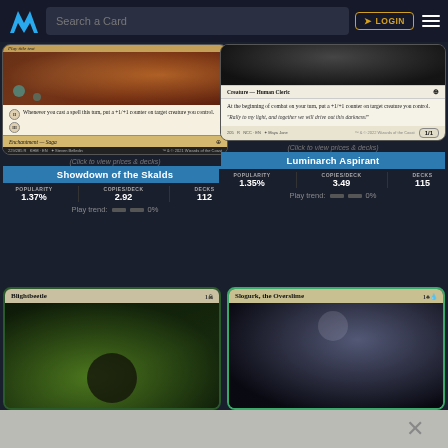Search a Card | LOGIN
[Figure (screenshot): Magic: The Gathering card - Showdown of the Skalds, Enchantment - Saga. Text: Whenever you cast a spell this turn, put a +1/+1 counter on target creature you control. II and III icons shown.]
(Click to view prices & decks)
Showdown of the Skalds
| POPULARITY | COPIES/DECK | DECKS |
| --- | --- | --- |
| 1.37% | 2.92 | 112 |
Play trend: 0%
[Figure (screenshot): Magic: The Gathering card - Luminarch Aspirant, Creature - Human Cleric. Text: At the beginning of combat on your turn, put a +1/+1 counter on target creature you control. Flavor text: Rally to my light, and together we will drive out this darkness! Power/Toughness: 1/1]
(Click to view prices & decks)
Luminarch Aspirant
| POPULARITY | COPIES/DECK | DECKS |
| --- | --- | --- |
| 1.35% | 3.49 | 115 |
Play trend: 0%
[Figure (screenshot): Magic: The Gathering card - Blightbeetle, partially visible. Mana cost: 1 black. Dark green creature art.]
[Figure (screenshot): Magic: The Gathering card - Slogurk, the Overslime, partially visible. Mana cost: 1 green blue. Dark moonlit creature art.]